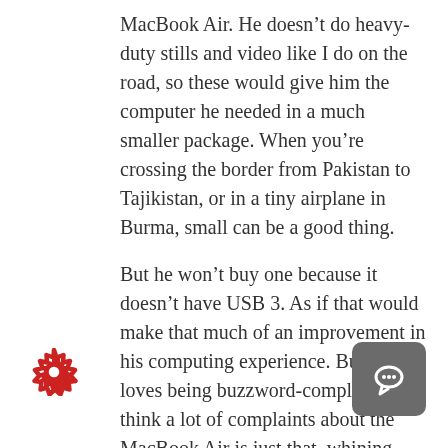MacBook Air. He doesn't do heavy-duty stills and video like I do on the road, so these would give him the computer he needed in a much smaller package. When you're crossing the border from Pakistan to Tajikistan, or in a tiny airplane in Burma, small can be a good thing.
But he won't buy one because it doesn't have USB 3. As if that would make that much of an improvement in his computing experience. But he loves being buzzword-complaint. I think a lot of complaints about the MacBook Air is just that, whining about it not being buzzword-compliant.
[Figure (illustration): Red gear/settings icon in bottom left corner]
[Figure (illustration): Grey rounded square chat/message button in bottom right corner]